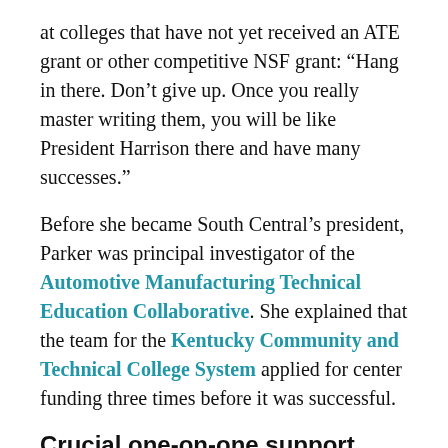at colleges that have not yet received an ATE grant or other competitive NSF grant: “Hang in there. Don’t give up. Once you really master writing them, you will be like President Harrison there and have many successes.”
Before she became South Central’s president, Parker was principal investigator of the Automotive Manufacturing Technical Education Collaborative. She explained that the team for the Kentucky Community and Technical College System applied for center funding three times before it was successful.
Crucial one-on-one support
Scott Alsobrooks, president of East Mississippi Community College (EMCC), explained that advice from Elizabeth Teles, then an NSF program